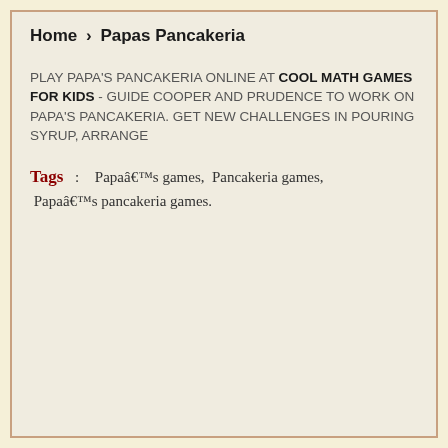Home > Papas Pancakeria
PLAY PAPA'S PANCAKERIA ONLINE AT COOL MATH GAMES FOR KIDS - GUIDE COOPER AND PRUDENCE TO WORK ON PAPA'S PANCAKERIA. GET NEW CHALLENGES IN POURING SYRUP, ARRANGE
Tags : Papaâs games, Pancakeria games, Papaâs pancakeria games.